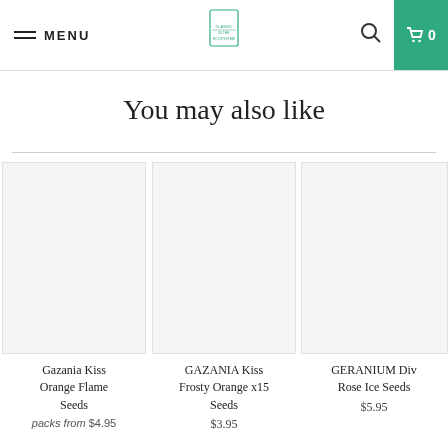MENU | [Logo] | [Search] | Cart 0
You may also like
Gazania Kiss Orange Flame Seeds | packs from $4.95
GAZANIA Kiss Frosty Orange x15 Seeds | $3.95
GERANIUM Div Rose Ice Seeds | $5.95